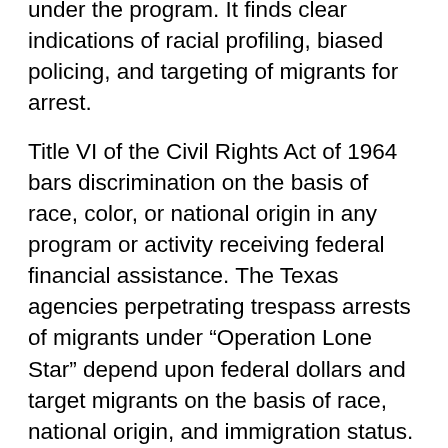under the program. It finds clear indications of racial profiling, biased policing, and targeting of migrants for arrest.
Title VI of the Civil Rights Act of 1964 bars discrimination on the basis of race, color, or national origin in any program or activity receiving federal financial assistance. The Texas agencies perpetrating trespass arrests of migrants under “Operation Lone Star” depend upon federal dollars and target migrants on the basis of race, national origin, and immigration status. The complaint requests a formal U.S. Department of Justice investigation.
As the complaint states, Texas law enforcement officials have directed individuals near the border to a particular